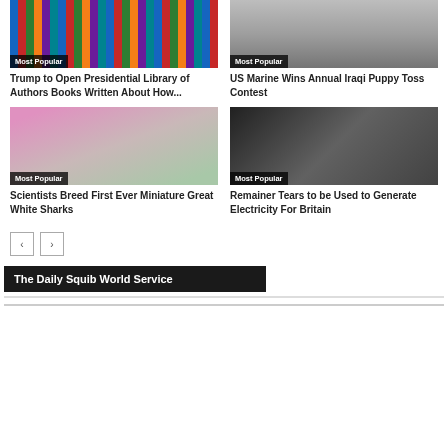[Figure (photo): Book covers with 'Most Popular' badge overlay]
Trump to Open Presidential Library of Authors Books Written About How...
[Figure (photo): Person with dog, grayscale, with 'Most Popular' badge overlay]
US Marine Wins Annual Iraqi Puppy Toss Contest
[Figure (photo): Girl holding fish tank with 'Most Popular' badge overlay]
Scientists Breed First Ever Miniature Great White Sharks
[Figure (photo): Crowd of people in black and white with 'Most Popular' badge overlay]
Remainer Tears to be Used to Generate Electricity For Britain
The Daily Squib World Service